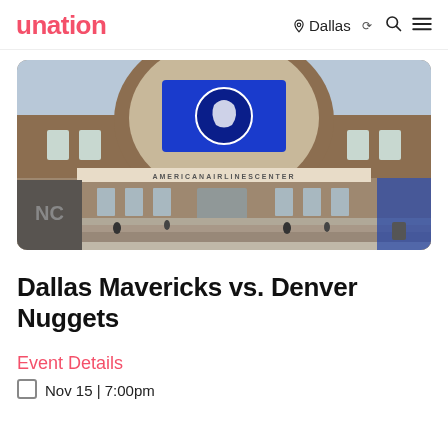unation  Dallas  🔍  ≡
[Figure (photo): Exterior photo of American Airlines Center arena in Dallas, featuring a large arched facade with brick, a blue LED display showing the Dallas Mavericks logo, and people on the plaza steps.]
Dallas Mavericks vs. Denver Nuggets
Event Details
📅 Nov 15 | 7:00pm